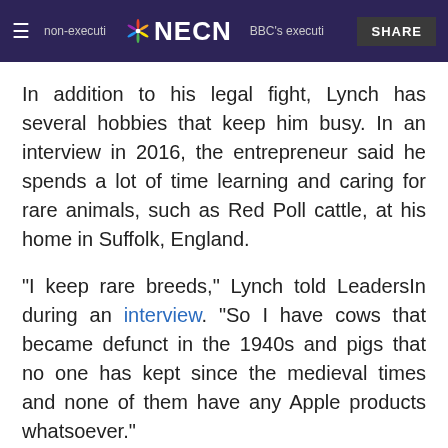non-executive … NECN … BBC's executi… SHARE
In addition to his legal fight, Lynch has several hobbies that keep him busy. In an interview in 2016, the entrepreneur said he spends a lot of time learning and caring for rare animals, such as Red Poll cattle, at his home in Suffolk, England.
"I keep rare breeds," Lynch told LeadersIn during an interview. "So I have cows that became defunct in the 1940s and pigs that no one has kept since the medieval times and none of them have any Apple products whatsoever."
Humble beginnings
Born on the outskirts of London in Essex on June 16, 1965, Lynch had fairly humble beginnings. His mother was a nurse